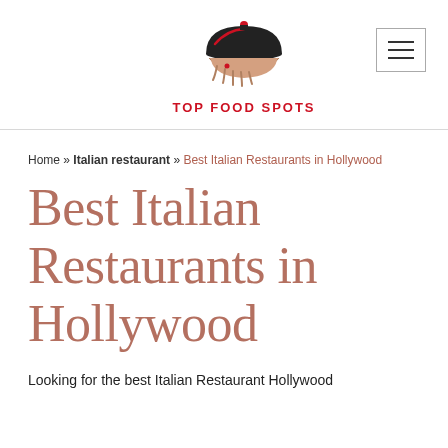[Figure (logo): Top Food Spots logo: a cloche dish cover with a hand beneath it, in red and black, with text TOP FOOD SPOTS below in red bold capitals]
Home » Italian restaurant » Best Italian Restaurants in Hollywood
Best Italian Restaurants in Hollywood
Looking for the best Italian Restaurant Hollywood